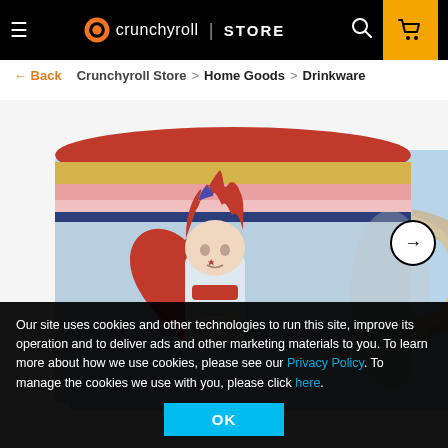Crunchyroll | STORE
← Back   Crunchyroll Store > Home Goods > Drinkware
[Figure (photo): Anime mug featuring a character with red spiky hair and a heart, holding playing cards, on a light blue background with colorful stripes near the top rim, and a red interior]
Our site uses cookies and other technologies to run this site, improve its operation and to deliver ads and other marketing materials to you. To learn more about how we use cookies, please see our Privacy Policy. To manage the cookies we use with you, please click here.